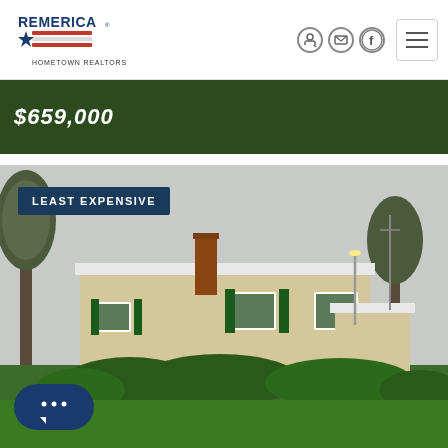Remerica Hometown Realtors
$659,000
[Figure (photo): Exterior photo of a single-story ranch-style house with beige/yellow siding, green shutters, brick chimney, trees on either side, and green lawn in the foreground. The sky is overcast/cloudy.]
LEAST EXPENSIVE